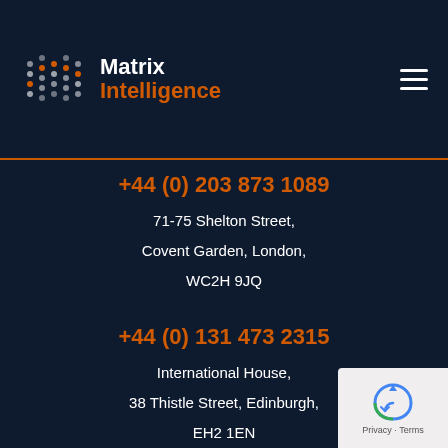Matrix Intelligence
+44 (0) 203 873 1089
71-75 Shelton Street,
Covent Garden, London,
WC2H 9JQ
+44 (0) 131 473 2315
International House,
38 Thistle Street, Edinburgh,
EH2 1EN